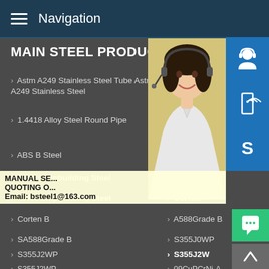Navigation
MAIN STEEL PRODUCT
Astm A249 Stainless Steel Tube Astm A249 Stainless Steel
Dnv G...
1.4418 Alloy Steel Round Pipe
Chem...
Astm A... Pipe Su...
ABS B Steel
ABS D...
EH32 Shipbuilding Steel
AH36...
AH40 Shipbuilding Steel
Corten...
Corten B
A588Grade B
SA588Grade B
S355J0WP
S355J2WP
S355J2W
S355J2WP
09CuPCrNi-A
05CuPCrNi
Q355GNH
[Figure (photo): Customer service representative woman with headset, with blue icon buttons for support, phone, and Skype overlaid on the right side]
MANUAL SE... QUOTING O... Email: bsteel1@163.com